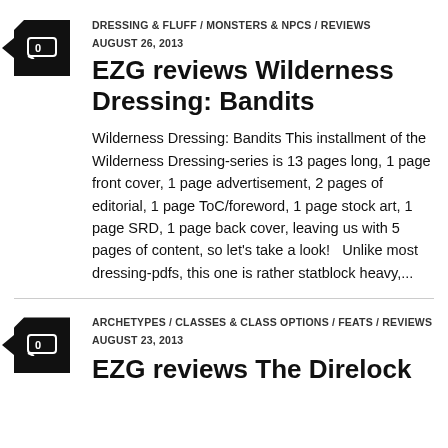DRESSING & FLUFF / MONSTERS & NPCS / REVIEWS
AUGUST 26, 2013
EZG reviews Wilderness Dressing: Bandits
Wilderness Dressing: Bandits This installment of the Wilderness Dressing-series is 13 pages long, 1 page front cover, 1 page advertisement, 2 pages of editorial, 1 page ToC/foreword, 1 page stock art, 1 page SRD, 1 page back cover, leaving us with 5 pages of content, so let’s take a look!   Unlike most dressing-pdfs, this one is rather statblock heavy,...
ARCHETYPES / CLASSES & CLASS OPTIONS / FEATS / REVIEWS
AUGUST 23, 2013
EZG reviews The Direlock